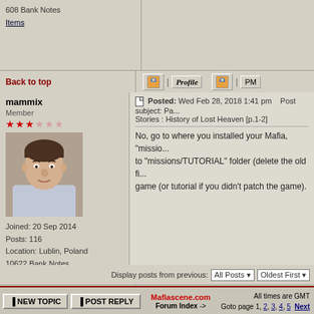608 Bank Notes
Items
Back to top
mammix
Member
Joined: 20 Sep 2014
Posts: 116
Location: Lublin, Poland
10622 Bank Notes
Items
Posted: Wed Feb 28, 2018 1:41 pm  Post subject: Pa... Stories : History of Lost Heaven [p.1-2]

No, go to where you installed your Mafia, "missio... to "missions/TUTORIAL" folder (delete the old fi... game (or tutorial if you didn't patch the game).
Back to top
Display posts from previous: All Posts  Oldest First
Mafiascene.com Forum Index ->
All times are GMT
Goto page 1, 2, 3, 4, 5  Next